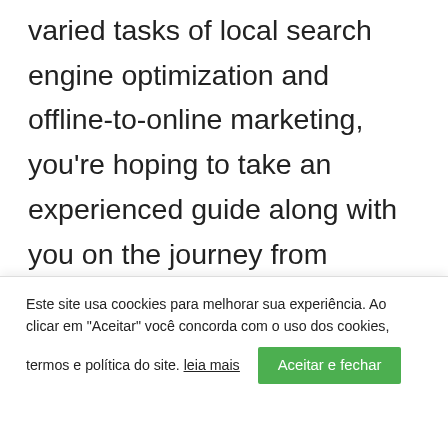varied tasks of local search engine optimization and offline-to-online marketing, you're hoping to take an experienced guide along with you on the journey from trailhead, to setting up camp, to making the most of your company's stay in your neck of the woods.
Top of mind for your local business will certainly be increasing revenue. You know
Este site usa coockies para melhorar sua experiência. Ao clicar em "Aceitar" você concorda com o uso dos cookies, termos e política do site. leia mais